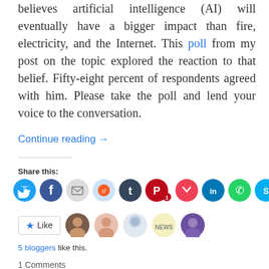believes artificial intelligence (AI) will eventually have a bigger impact than fire, electricity, and the Internet. This poll from my post on the topic explored the reaction to that belief. Fifty-eight percent of respondents agreed with him. Please take the poll and lend your voice to the conversation.
Continue reading →
Share this:
[Figure (infographic): Row of social media share icon buttons: Twitter (blue), Facebook (blue), Email (gray), Reddit (light blue), Tumblr (dark navy), Pinterest (red with badge '1'), Pocket (red), LinkedIn (dark blue), WhatsApp (green), Skype (blue)]
[Figure (infographic): Like button with star icon, followed by 5 blogger avatar thumbnails]
5 bloggers like this.
1 Comments